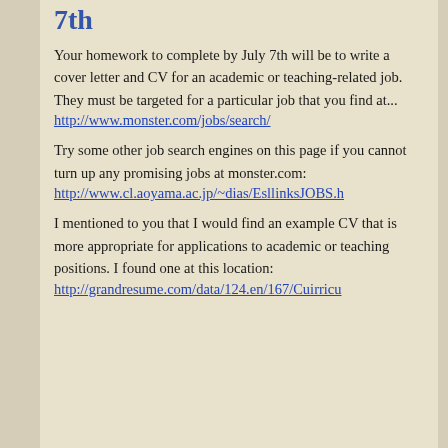7th
Your homework to complete by July 7th will be to write a cover letter and CV for an academic or teaching-related job. They must be targeted for a particular job that you find at...
http://www.monster.com/jobs/search/
Try some other job search engines on this page if you cannot turn up any promising jobs at monster.com:
http://www.cl.aoyama.ac.jp/~dias/EsllinksJOBS.h
I mentioned to you that I would find an example CV that is more appropriate for applications to academic or teaching positions. I found one at this location:
http://grandresume.com/data/124.en/167/Cuirricu